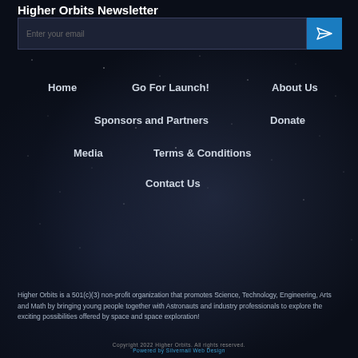Higher Orbits Newsletter
Enter your email
Home
Go For Launch!
About Us
Sponsors and Partners
Donate
Media
Terms & Conditions
Contact Us
Higher Orbits is a 501(c)(3) non-profit organization that promotes Science, Technology, Engineering, Arts and Math by bringing young people together with Astronauts and industry professionals to explore the exciting possibilities offered by space and space exploration!
Copyright 2022 Higher Orbits. All rights reserved.
Powered by Silvernail Web Design